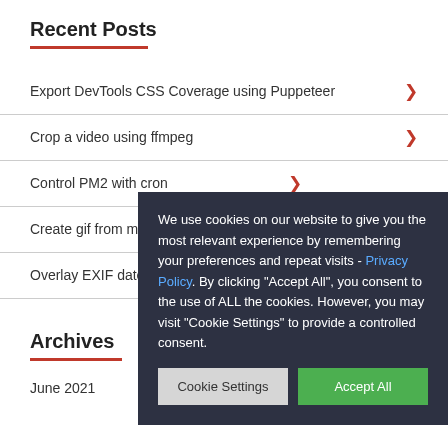Recent Posts
Export DevTools CSS Coverage using Puppeteer
Crop a video using ffmpeg
Control PM2 with cron
Create gif from mp4
Overlay EXIF date /
Archives
June 2021
We use cookies on our website to give you the most relevant experience by remembering your preferences and repeat visits - Privacy Policy. By clicking "Accept All", you consent to the use of ALL the cookies. However, you may visit "Cookie Settings" to provide a controlled consent.